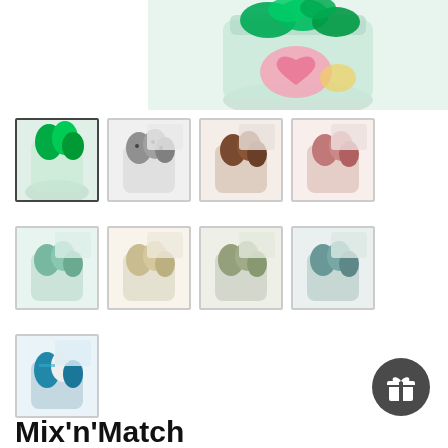[Figure (photo): Hero image showing a glass jar filled with green yarn skeins with a pink heart-shaped tag label, on a white background]
[Figure (photo): Thumbnail 1: bright green yarn skeins in a glass jar (selected/highlighted)]
[Figure (photo): Thumbnail 2: grey/black speckled yarn skeins in a glass jar]
[Figure (photo): Thumbnail 3: brown/chocolate yarn skeins in a glass jar]
[Figure (photo): Thumbnail 4: pink/blush yarn skeins in a glass jar]
[Figure (photo): Thumbnail 5: mint/sage green yarn skeins in a glass jar]
[Figure (photo): Thumbnail 6: cream/natural yarn skeins in a glass jar]
[Figure (photo): Thumbnail 7: light sage/olive yarn skeins in a glass jar]
[Figure (photo): Thumbnail 8: dusty teal/grey-green yarn skeins in a glass jar]
[Figure (photo): Thumbnail 9: multi-color teal and white yarn skeins in a glass jar]
Mix'n'Match